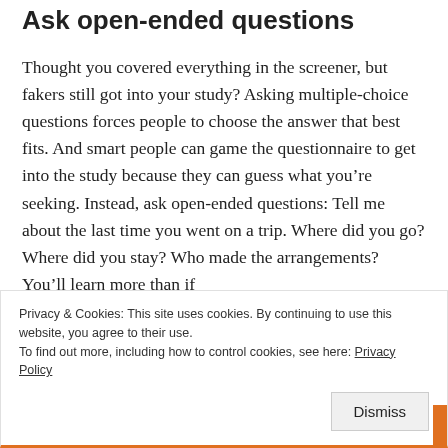Ask open-ended questions
Thought you covered everything in the screener, but fakers still got into your study? Asking multiple-choice questions forces people to choose the answer that best fits. And smart people can game the questionnaire to get into the study because they can guess what you’re seeking. Instead, ask open-ended questions: Tell me about the last time you went on a trip. Where did you go? Where did you stay? Who made the arrangements? You’ll learn more than if
Privacy & Cookies: This site uses cookies. By continuing to use this website, you agree to their use.
To find out more, including how to control cookies, see here: Privacy Policy